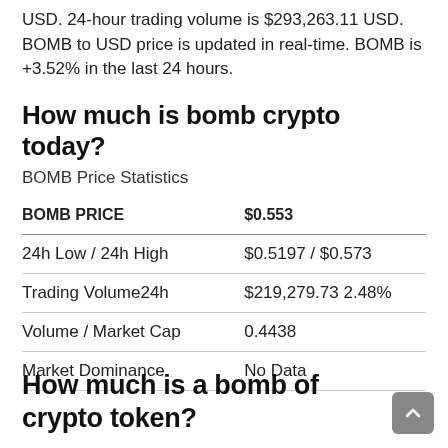USD. 24-hour trading volume is $293,263.11 USD. BOMB to USD price is updated in real-time. BOMB is +3.52% in the last 24 hours.
How much is bomb crypto today?
BOMB Price Statistics
|  |  |
| --- | --- |
| BOMB PRICE | $0.553 |
| 24h Low / 24h High | $0.5197 / $0.573 |
| Trading Volume24h | $219,279.73 2.48% |
| Volume / Market Cap | 0.4438 |
| Market Dominance | No Data |
How much is a bomb of crypto token?